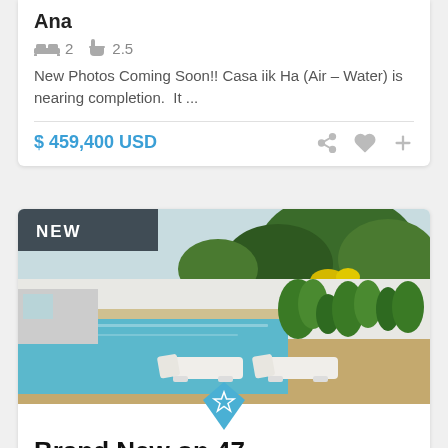Ana
2 bedrooms, 2.5 bathrooms
New Photos Coming Soon!! Casa iik Ha (Air – Water) is nearing completion.  It ...
$ 459,400 USD
[Figure (photo): Pool area with lounge chairs, tropical plants and white walls, showing a freshly restored colonial property. Badge: NEW in top-left corner, star badge at bottom center.]
Brand New on 47
3 bedrooms, 3 bathrooms
This freshly restored colonial is ideally situated in the Santiago area